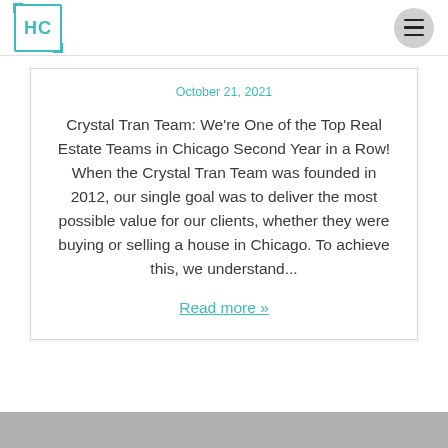HC logo and hamburger menu navigation bar
October 21, 2021
Crystal Tran Team: We're One of the Top Real Estate Teams in Chicago Second Year in a Row! When the Crystal Tran Team was founded in 2012, our single goal was to deliver the most possible value for our clients, whether they were buying or selling a house in Chicago. To achieve this, we understand...
Read more »